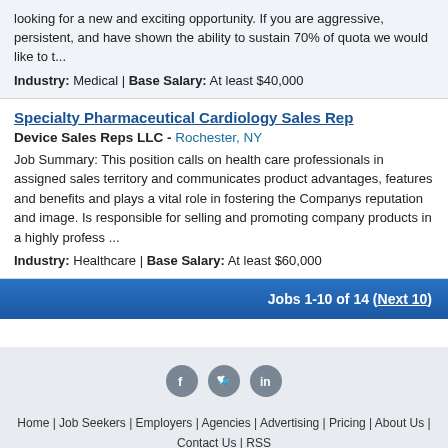looking for a new and exciting opportunity. If you are aggressive, persistent, and have shown the ability to sustain 70% of quota we would like to t...
Industry: Medical | Base Salary: At least $40,000
Specialty Pharmaceutical Cardiology Sales Rep
Device Sales Reps LLC - Rochester, NY
Job Summary: This position calls on health care professionals in assigned sales territory and communicates product advantages, features and benefits and plays a vital role in fostering the Companys reputation and image. Is responsible for selling and promoting company products in a highly profess ...
Industry: Healthcare | Base Salary: At least $60,000
Jobs 1-10 of 14 (Next 10)
[Figure (other): Social media icons: Facebook, Twitter, LinkedIn]
Home | Job Seekers | Employers | Agencies | Advertising | Pricing | About Us | Contact Us | RSS | Site Map | Blog | Sales Jobs Listings >